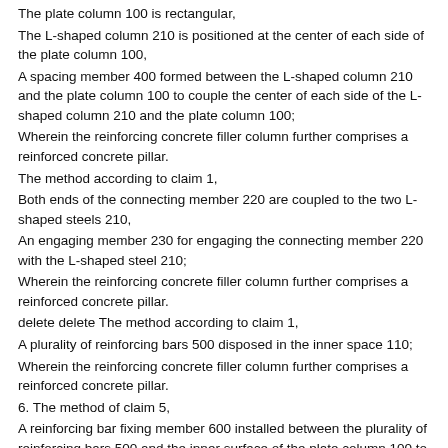The plate column 100 is rectangular,
The L-shaped column 210 is positioned at the center of each side of the plate column 100,
A spacing member 400 formed between the L-shaped column 210 and the plate column 100 to couple the center of each side of the L-shaped column 210 and the plate column 100;
Wherein the reinforcing concrete filler column further comprises a reinforced concrete pillar.
The method according to claim 1,
Both ends of the connecting member 220 are coupled to the two L-shaped steels 210,
An engaging member 230 for engaging the connecting member 220 with the L-shaped steel 210;
Wherein the reinforcing concrete filler column further comprises a reinforced concrete pillar.
delete delete The method according to claim 1,
A plurality of reinforcing bars 500 disposed in the inner space 110;
Wherein the reinforcing concrete filler column further comprises a reinforced concrete pillar.
6. The method of claim 5,
A reinforcing bar fixing member 600 installed between the plurality of reinforcing bars 500 and the inner surface of the plate column 100 to fix the positions of the plurality of reinforcing bars 500;